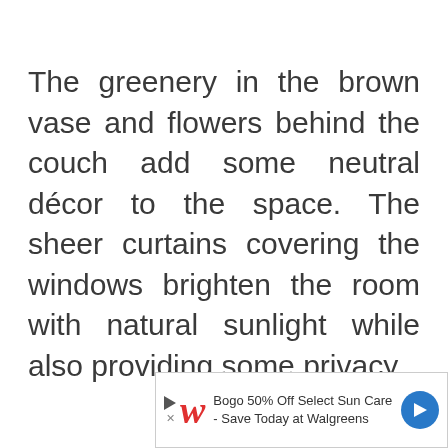The greenery in the brown vase and flowers behind the couch add some neutral décor to the space. The sheer curtains covering the windows brighten the room with natural sunlight while also providing some privacy.
[Figure (other): Advertisement banner for Walgreens: 'Bogo 50% Off Select Sun Care - Save Today at Walgreens' with Walgreens logo and navigation arrow icon]